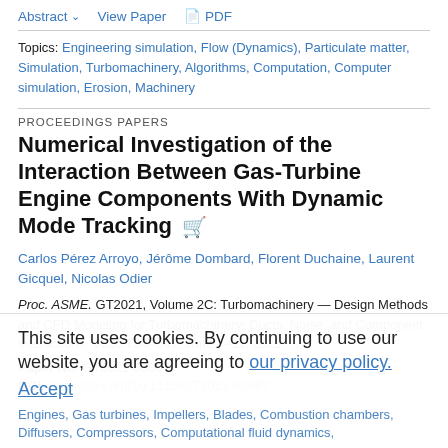Abstract   View Paper   PDF
Topics: Engineering simulation, Flow (Dynamics), Particulate matter, Simulation, Turbomachinery, Algorithms, Computation, Computer simulation, Erosion, Machinery
PROCEEDINGS PAPERS
Numerical Investigation of the Interaction Between Gas-Turbine Engine Components With Dynamic Mode Tracking
Carlos Pérez Arroyo, Jérôme Dombard, Florent Duchaine, Laurent Gicquel, Nicolas Odier
Proc. ASME. GT2021, Volume 2C: Turbomachinery — Design Methods and CFD Modeling for Turbomachinery; Ducts, Noise, and Component Interactions, V02CT34A041, June 7–11, 2021
Paper No: GT2021-60087
DOI: https://doi.org/10.1115/GT2021-60087
This site uses cookies. By continuing to use our website, you are agreeing to our privacy policy. Accept
Engines, Gas turbines, Impellers, Blades, Combustion chambers, Diffusers, Compressors, Computational fluid dynamics,